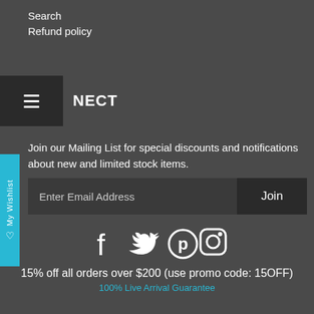Search
Refund policy
CONNECT
Join our Mailing List for special discounts and notifications about new and limited stock items.
Enter Email Address
Join
[Figure (infographic): Social media icons: Facebook, Twitter, Pinterest, Instagram]
15% off all orders over $200 (use promo code: 15OFF)
100% Live Arrival Guarantee